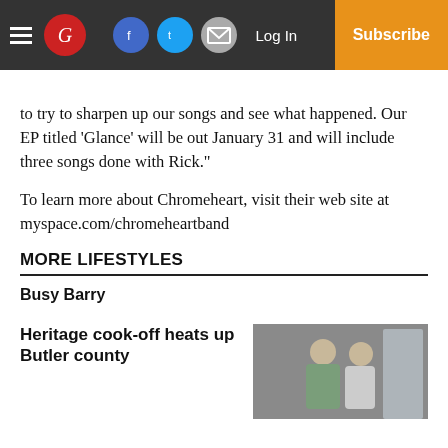The Globe | Log In | Subscribe
to try to sharpen up our songs and see what happened. Our EP titled ‘Glance’ will be out January 31 and will include three songs done with Rick.”
To learn more about Chromeheart, visit their web site at myspace.com/chromeheartband
MORE LIFESTYLES
Busy Barry
Heritage cook-off heats up Butler county
[Figure (photo): Two people standing, partial view, grayscale/muted tones]